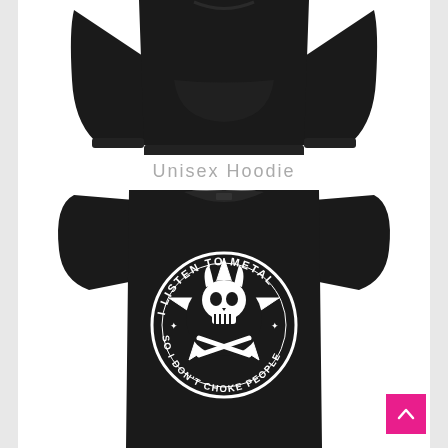[Figure (photo): Black unisex hoodie/sweatshirt shown from the front, no graphic design on it, against a white background. Only the bottom portion of the garment is visible (torso and sleeves).]
Unisex Hoodie
[Figure (photo): Black unisex t-shirt with a graphic design printed in white on the chest. The design shows a skull with horns inside a pentagram/star shape, with text along the top reading 'I LISTEN TO METAL' and along the bottom reading 'SO I DON'T CHOKE PEOPLE'.]